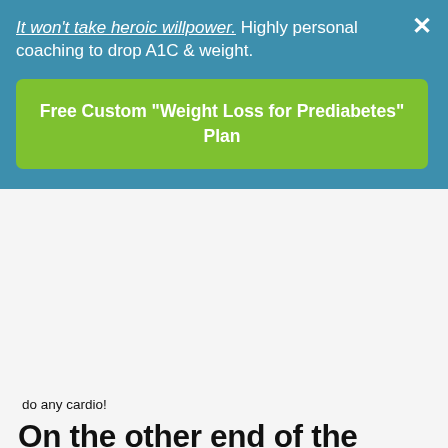[Figure (screenshot): Promotional banner with teal/blue background containing italic bold text 'It won't take heroic willpower.' followed by 'Highly personal coaching to drop A1C & weight.' and a green call-to-action button reading 'Free Custom "Weight Loss for Prediabetes" Plan', with an X close button in the top right corner.]
do any cardio!
On the other end of the spectrum, are the people who think: “I’m thin - I don’t need to exercise.”
I was checking out workouts on Youtube the other day when I came upon the video of an overweight mother in her 30s. She said that